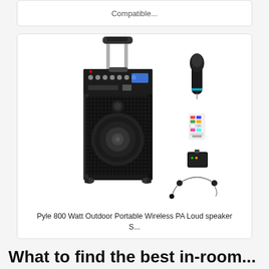Compatible...
[Figure (photo): Pyle 800 Watt Outdoor Portable Wireless PA Loud speaker with accessories including wireless microphone, remote control, receiver unit, and headset microphone]
Pyle 800 Watt Outdoor Portable Wireless PA Loud speaker S...
What to find the best in-room...